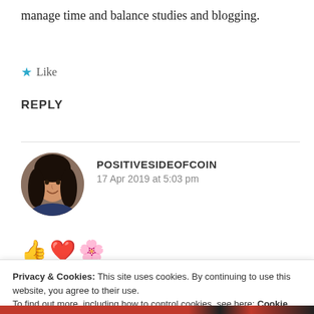manage time and balance studies and blogging.
★ Like
REPLY
POSITIVESIDEOFCOIN
17 Apr 2019 at 5:03 pm
[Figure (photo): Circular avatar photo of a woman with dark hair, smiling]
👍❤️🌸
Privacy & Cookies: This site uses cookies. By continuing to use this website, you agree to their use.
To find out more, including how to control cookies, see here: Cookie Policy
Close and accept